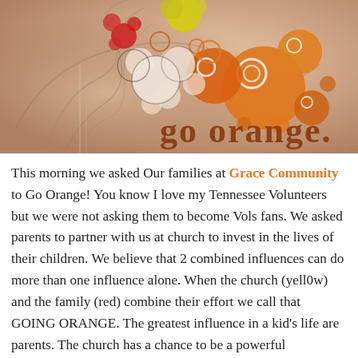[Figure (illustration): Go Orange decorative banner image with colorful bubble/circle designs in orange, yellow, red, and white on a warm beige/brown background, featuring the text 'go orange.' in large dark brownish-orange letters]
This morning we asked Our families at Grace Community to Go Orange! You know I love my Tennessee Volunteers but we were not asking them to become Vols fans. We asked parents to partner with us at church to invest in the lives of their children. We believe that 2 combined influences can do more than one influence alone. When the church (yell0w) and the family (red) combine their effort we call that GOING ORANGE. The greatest influence in a kid's life are parents. The church has a chance to be a powerful